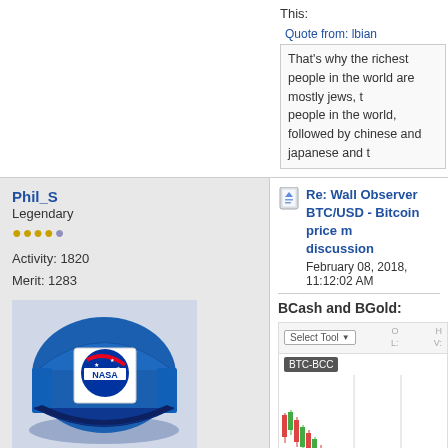This:
Quote from: lbian
That's why the richest people in the world are mostly jews, the smartest people in the world, followed by chinese and japanese and t
Phil_S
Legendary
Activity: 1820
Merit: 1283
[Figure (photo): Blue NASA branded trucker cap]
We choose to go to the moon
Re: Wall Observer BTC/USD - Bitcoin price movement discussion
February 08, 2018, 11:12:02 AM
BCash and BGold:
[Figure (continuous-plot): BTC-BCC candlestick chart showing price movement from 2/5 through 2/7 with time axis labels at 12:00, 2/6, 12:00, 2/7. Chart shows a declining then volatile pattern with green and red candlesticks.]